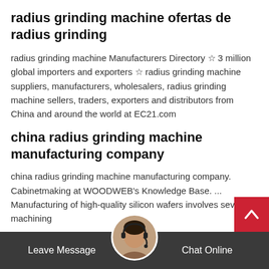radius grinding machine ofertas de radius grinding
radius grinding machine Manufacturers Directory ☆ 3 million global importers and exporters ☆ radius grinding machine suppliers, manufacturers, wholesalers, radius grinding machine sellers, traders, exporters and distributors from China and around the world at EC21.com
china radius grinding machine manufacturing company
china radius grinding machine manufacturing company. Cabinetmaking at WOODWEB's Knowledge Base. ... Manufacturing of high-quality silicon wafers involves several machining
Leave Message   Chat Online